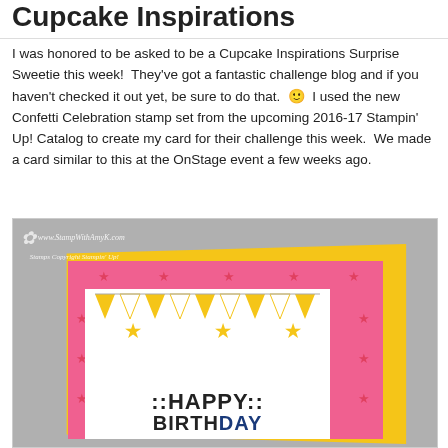Cupcake Inspirations
I was honored to be asked to be a Cupcake Inspirations Surprise Sweetie this week!  They've got a fantastic challenge blog and if you haven't checked it out yet, be sure to do that. 🙂  I used the new Confetti Celebration stamp set from the upcoming 2016-17 Stampin' Up! Catalog to create my card for their challenge this week.  We made a card similar to this at the OnStage event a few weeks ago.
[Figure (photo): A handmade birthday card featuring a yellow card base with a pink layer decorated with red star stamps, and a white center panel with yellow bunting triangles and 'HAPPY BIRTHDAY' text in bold black letters. Watermark reads www.StampWithAmyK.com and Stamps Copyright Stampin' Up!]